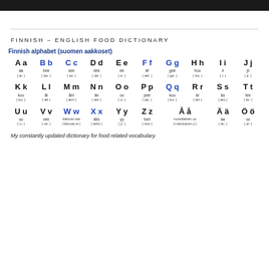FINNISH – ENGLISH FOOD DICTIONARY
Finnish alphabet (suomen aakkoset)
| Aa | Bb | Cc | Dd | Ee | Ff | Gg | Hh | Ii | Jj |
| aa | bee | see | dee | ee | äf | gee | hoo | ii | jii |
| [ɑː] | [beː] | [seː] | [deː] | [eː] | [æfː] | [geː] | [hoː] | [iː] | [jiː] |
| Kk | Ll | Mm | Nn | Oo | Pp | Qq | Rr | Ss | Tt |
| koo | äl | åm | än | oo | pee | kuu | är | äs | tee |
| [koː] | [æl] | [æm] | [æn] | [oː] | [peː] | [kuː] | [ær] | [æs] | [teː] |
| Uu | Vv | Ww | Xx | Yy | Zz | Åå | Ää | Öö |  |
| uu | vee | kaksois-vee | äks | yy | tset | ruotsalainen oo | aa | oo |  |
| [uː] | [veː] | [ˈkɔksoɪsˌveː] | [æks] | [yː] | [tset] | [ˈruɔtsoloɪnen,oː] | [æː] | [øː] |  |
My constantly updated dictionary for food related vocabulary.